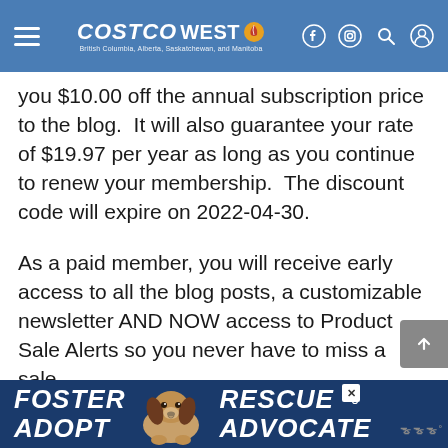Costco West | British Columbia, Alberta, Saskatchewan, and Manitoba
you $10.00 off the annual subscription price to the blog.  It will also guarantee your rate of $19.97 per year as long as you continue to renew your membership.  The discount code will expire on 2022-04-30.
As a paid member, you will receive early access to all the blog posts, a customizable newsletter AND NOW access to Product Sale Alerts so you never have to miss a sale.
To sign up for a paid membership, visit the link here:
[Figure (other): Advertisement banner: Foster / Adopt, dog photo, Rescue / Advocate]